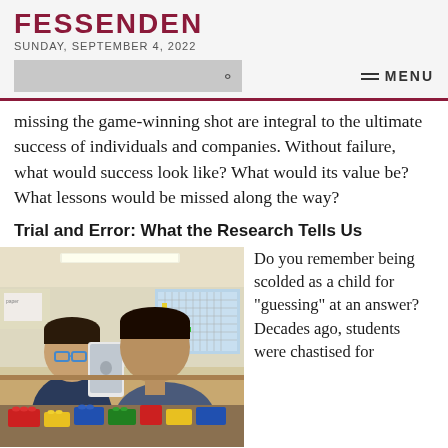FESSENDEN
SUNDAY, SEPTEMBER 4, 2022
missing the game-winning shot are integral to the ultimate success of individuals and companies. Without failure, what would success look like? What would its value be? What lessons would be missed along the way?
Trial and Error: What the Research Tells Us
[Figure (photo): Two young boys in a classroom looking at a tablet/iPad together, with LEGO bricks on the desk in the foreground. One boy wears glasses.]
Do you remember being scolded as a child for “guessing” at an answer? Decades ago, students were chastised for